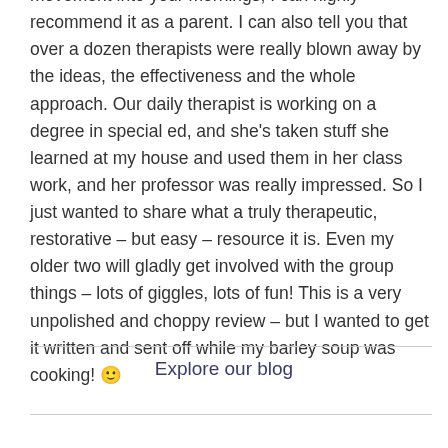movement into your mornings, I can highly recommend it as a parent. I can also tell you that over a dozen therapists were really blown away by the ideas, the effectiveness and the whole approach. Our daily therapist is working on a degree in special ed, and she's taken stuff she learned at my house and used them in her class work, and her professor was really impressed. So I just wanted to share what a truly therapeutic, restorative – but easy – resource it is. Even my older two will gladly get involved with the group things – lots of giggles, lots of fun! This is a very unpolished and choppy review – but I wanted to get it written and sent off while my barley soup was cooking! 🙂
Explore our blog